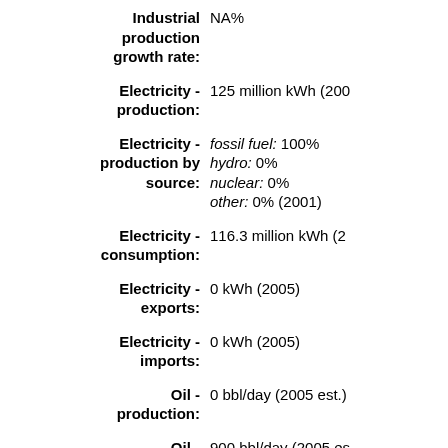Industrial production growth rate: NA%
Electricity - production: 125 million kWh (200...)
Electricity - production by source: fossil fuel: 100% hydro: 0% nuclear: 0% other: 0% (2001)
Electricity - consumption: 116.3 million kWh (2...)
Electricity - exports: 0 kWh (2005)
Electricity - imports: 0 kWh (2005)
Oil - production: 0 bbl/day (2005 est.)
Oil - consumption: 900 bbl/day (2005 es...)
Oil - exports: 0 bbl/day (2004)
Oil - imports: 871.6 bbl/day (2004...)